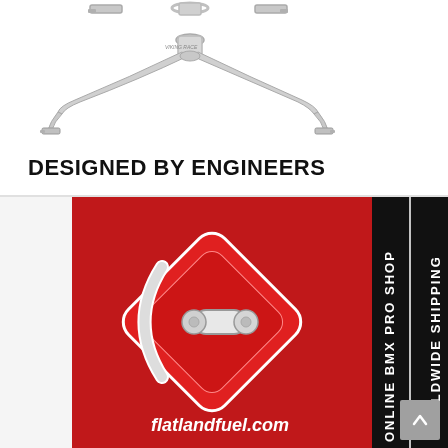[Figure (photo): Two silver/chrome BMX bicycle forks shown against a white background — one at the top partially visible and one below showing the full fork shape with 'VIKING RACE' text visible on it.]
DESIGNED BY ENGINEERS
[Figure (photo): Advertisement banner for flatlandfuel.com — red background with a illustrated BMX peg/component graphic in the center. Black vertical banner on the right reads 'ONLINE BMX PRO SHOP | WORLDWIDE SHIPPING'. Bottom text reads 'flatlandfuel.com'.]